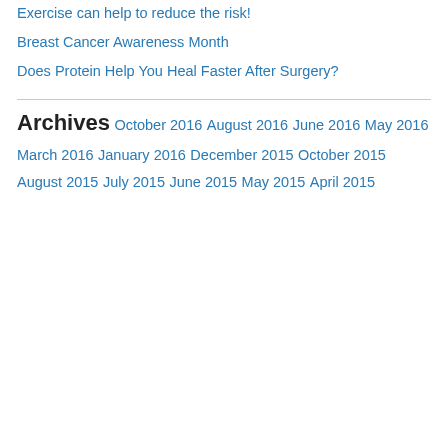Exercise can help to reduce the risk!
Breast Cancer Awareness Month
Does Protein Help You Heal Faster After Surgery?
Archives
October 2016
August 2016
June 2016
May 2016
March 2016
January 2016
December 2015
October 2015
August 2015
July 2015
June 2015
May 2015
April 2015